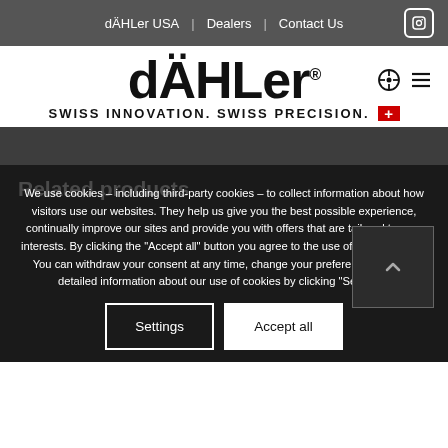dÄHLer USA | Dealers | Contact Us
[Figure (logo): dÄHLer logo with tagline SWISS INNOVATION. SWISS PRECISION. and Swiss flag icon]
Related products
We use cookies – including third-party cookies – to collect information about how visitors use our websites. They help us give you the best possible experience, continually improve our sites and provide you with offers that are tailored to your interests. By clicking the "Accept all" button you agree to the use of these cookies. You can withdraw your consent at any time, change your preferences and get detailed information about our use of cookies by clicking "Settings".